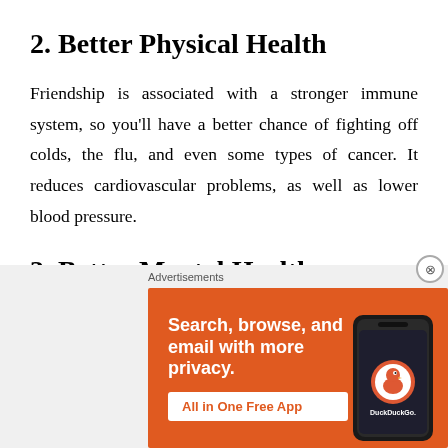2. Better Physical Health
Friendship is associated with a stronger immune system, so you’ll have a better chance of fighting off colds, the flu, and even some types of cancer. It reduces cardiovascular problems, as well as lower blood pressure.
3. Better Mental Health
Interacting with others boosts feelings of happiness and
[Figure (screenshot): DuckDuckGo advertisement banner: orange background with text 'Search, browse, and email with more privacy. All in One Free App' with a phone illustration and DuckDuckGo logo/branding.]